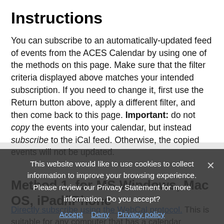Instructions
You can subscribe to an automatically-updated feed of events from the ACES Calendar by using one of the methods on this page. Make sure that the filter criteria displayed above matches your intended subscription. If you need to change it, first use the Return button above, apply a different filter, and then come back to this page. Important: do not copy the events into your calendar, but instead subscribe to the iCal feed. Otherwise, the copied events will not be updated.
Method 1, for MS Windows, Mac OS, iPad/iPhone
Directly subscribe using the WebCal protocol. This is suitable for any computer that has a calendar application which supports the WebCal...
This website would like to use cookies to collect information to improve your browsing experience. Please review our Privacy Statement for more information. Do you accept?